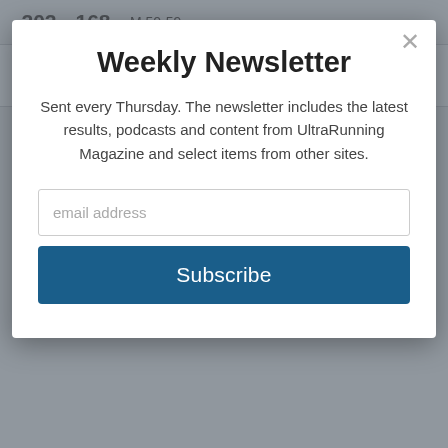Weekly Newsletter
Sent every Thursday. The newsletter includes the latest results, podcasts and content from UltraRunning Magazine and select items from other sites.
email address
Subscribe
| Place | Gender Place | Name / Category | Time |
| --- | --- | --- | --- |
| 202 | 168 | M 50-59 |  |
| 203 | 169 | Jim Sequin
M 40-49 | 9:59:54 |
| 204 | 170 | Dan Baglione
M 70+ | 10:05:00 |